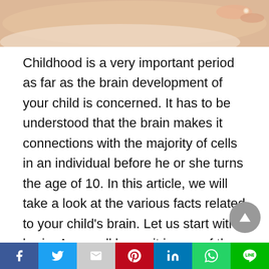[Figure (photo): Photo of a person lying down, hands visible in foreground]
Childhood is a very important period as far as the brain development of your child is concerned. It has to be understood that the brain makes it connections with the majority of cells in an individual before he or she turns the age of 10. In this article, we will take a look at the various facts related to your child's brain. Let us start with brain. As we all know, it is one of the highly refined organ in a human body and close to 100 billion neuron cells are believed to be present within an infant as soon as he or she takes birth. All of these cells are
Social share bar: Facebook, Twitter, Gmail, Pinterest, LinkedIn, WhatsApp, Line